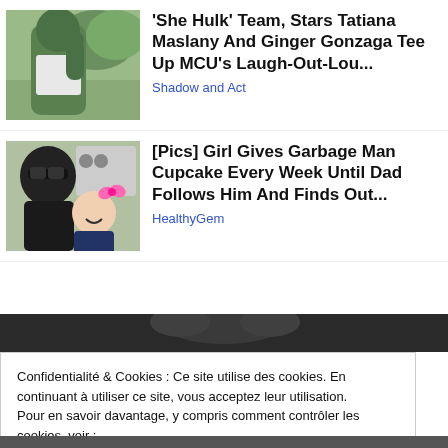[Figure (photo): Green-skinned figure (Hulk character) in white tank top outdoors]
'She Hulk' Team, Stars Tatiana Maslany And Ginger Gonzaga Tee Up MCU's Laugh-Out-Lou...
Shadow and Act
[Figure (photo): Man with sunglasses taking selfie with smiling little girl wearing pink bow]
[Pics] Girl Gives Garbage Man Cupcake Every Week Until Dad Follows Him And Finds Out...
HealthyGem
Confidentialité & Cookies : Ce site utilise des cookies. En continuant à utiliser ce site, vous acceptez leur utilisation.
Pour en savoir davantage, y compris comment contrôler les cookies, voir :
Politique relative aux cookies
Fermer et accepter